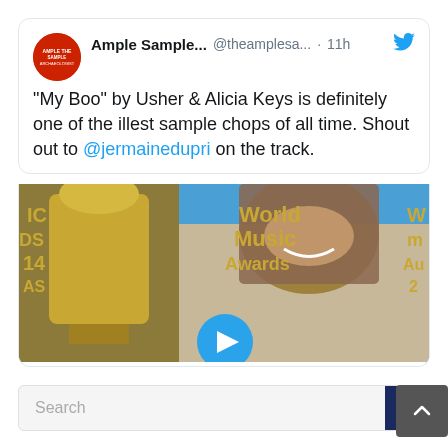Ample Sample... @theamplesa... · 11h
"My Boo" by Usher & Alicia Keys is definitely one of the illest sample chops of all time. Shout out to @jermainedupri on the track.
[Figure (photo): Photo of a man in a beige jacket holding a gold trophy award, with World Music Awards backdrop in the background. A blue play button icon is overlaid at the bottom center.]
Search
Username